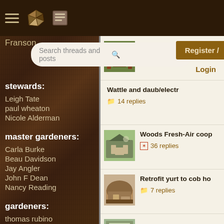Navigation bar with hamburger menu, pie chart icon, news icon, Register/Login button
Search threads and posts
Franson
stewards:
Leigh Tate
paul wheaton
Nicole Alderman
master gardeners:
Carla Burke
Beau Davidson
Jay Angler
John F Dean
Nancy Reading
gardeners:
thomas rubino
Casie Becker
Mike Barkley
Wattle and Daub "In Si
4 replies
Wattle and daub/electr
14 replies
Woods Fresh-Air coop
36 replies
Retrofit yurt to cob ho
7 replies
Register /
Login